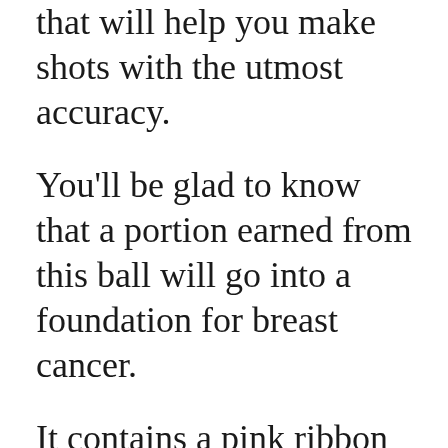that will help you make shots with the utmost accuracy.
You'll be glad to know that a portion earned from this ball will go into a foundation for breast cancer.
It contains a pink ribbon on the side that acts as a symbol for their commitment to breast cancer. You can have a